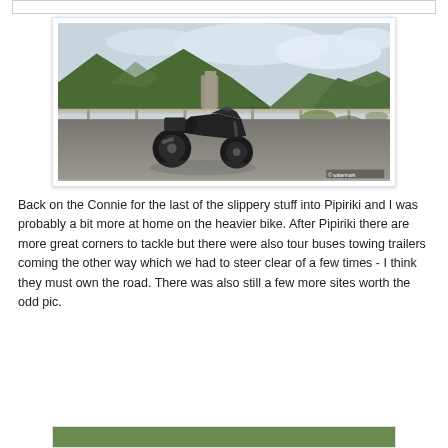[Figure (photo): A motorcycle (dark/black sport-touring bike) parked on a gravel road area with green forested hills/mountains in the background and an overcast sky. A metal guardrail is visible behind the bike.]
Back on the Connie for the last of the slippery stuff into Pipiriki and I was probably a bit more at home on the heavier bike.  After Pipiriki there are more great corners to tackle but there were also tour buses towing trailers coming the other way which we had to steer clear of a few times - I think they must own the road.  There was also still a few more sites worth the odd pic.
[Figure (photo): Partial view of another photo at the bottom of the page showing green foliage/nature scene.]